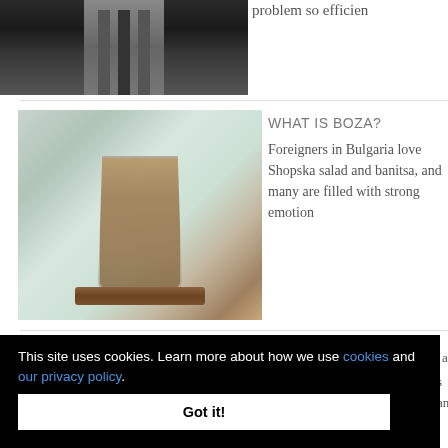[Figure (photo): Partial top of a dark stairwell or corridor interior photograph]
problem so efficien
[Figure (photo): Glass of boza (thick fermented drink) on a wooden board, light background]
WHAT IS BOZA?
Foreigners in Bulgaria love Shopska salad and banitsa, and many are filled with strong emotion
This site uses cookies. Learn more about how we use cookies and our privacy policy.
Got it!
ap
s and
[Figure (photo): Partial bottom image strip visible below cookie banner]